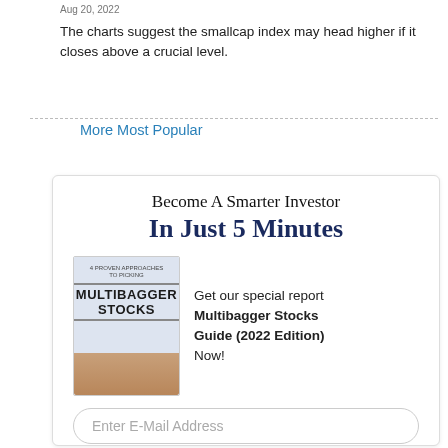Aug 20, 2022
The charts suggest the smallcap index may head higher if it closes above a crucial level.
More Most Popular
[Figure (infographic): Advertisement box: Become A Smarter Investor In Just 5 Minutes. Get our special report Multibagger Stocks Guide (2022 Edition) Now! Email input field and Send My Free Report button. Privacy note: We will never sell or rent your email id. Please read our Terms.]